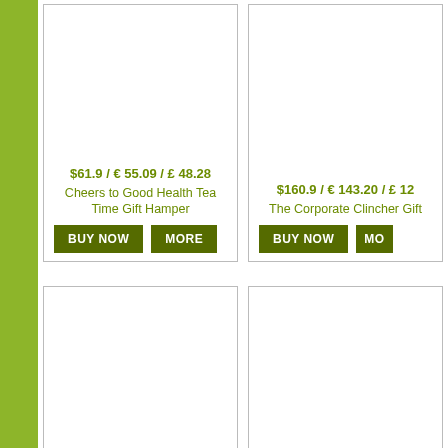$61.9 / € 55.09 / £ 48.28
Cheers to Good Health Tea Time Gift Hamper
BUY NOW
MORE
$160.9 / € 143.20 / £ 12...
The Corporate Clincher Gift ...
BUY NOW
MO...
$142.9 / € 127.18 / £ 111.46
Abundant Gourmet Gift Hamper with Tea Set
BUY NOW
MORE
$122.9 / € 109.38 / £ 95...
Unique Collection Home Deco...
BUY NOW
MO...